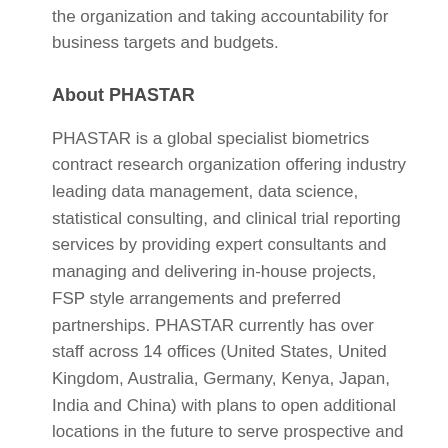the organization and taking accountability for business targets and budgets.
About PHASTAR
PHASTAR is a global specialist biometrics contract research organization offering industry leading data management, data science, statistical consulting, and clinical trial reporting services by providing expert consultants and managing and delivering in-house projects, FSP style arrangements and preferred partnerships. PHASTAR currently has over staff across 14 offices (United States, United Kingdom, Australia, Germany, Kenya, Japan, India and China) with plans to open additional locations in the future to serve prospective and existing clients. PHASTAR's number one priority is to ensure that the work produced is of the highest quality. Every project PHASTAR undertakes